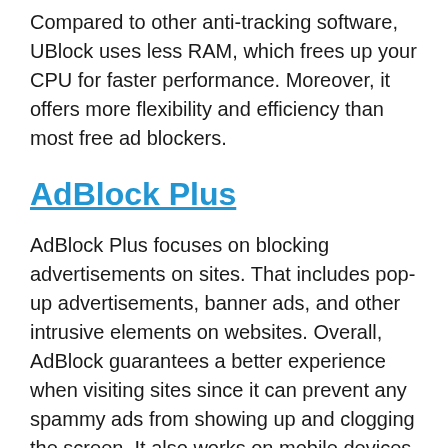Compared to other anti-tracking software, UBlock uses less RAM, which frees up your CPU for faster performance. Moreover, it offers more flexibility and efficiency than most free ad blockers.
AdBlock Plus
AdBlock Plus focuses on blocking advertisements on sites. That includes pop-up advertisements, banner ads, and other intrusive elements on websites. Overall, AdBlock guarantees a better experience when visiting sites since it can prevent any spammy ads from showing up and clogging the screen. It also works on mobile devices for Android and iPhones/iPads. Some malicious ads can infect your phone with